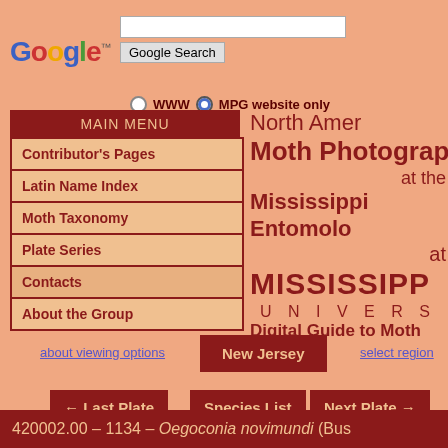[Figure (screenshot): Google search bar with Google Search button and radio buttons for WWW and MPG website only]
MAIN MENU
Contributor's Pages
Latin Name Index
Moth Taxonomy
Plate Series
Contacts
About the Group
North American Moth Photographers Group at the Mississippi Entomological Museum at MISSISSIPPI STATE UNIVERSITY Digital Guide to Moth
about viewing options
New Jersey
select region
← Last Plate
Species List
Next Plate →
420002.00 – 1134 – Oegoconia novimundi (Bus